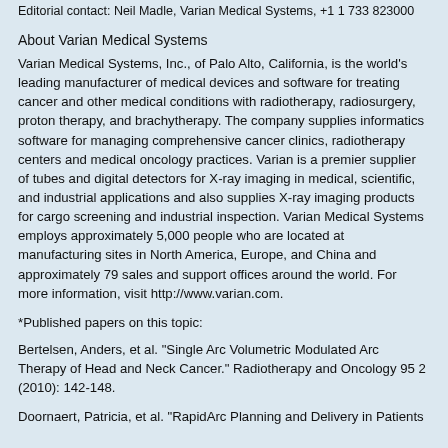Editorial contact: Neil Madle, Varian Medical Systems, +1 1 733 823000
About Varian Medical Systems
Varian Medical Systems, Inc., of Palo Alto, California, is the world's leading manufacturer of medical devices and software for treating cancer and other medical conditions with radiotherapy, radiosurgery, proton therapy, and brachytherapy. The company supplies informatics software for managing comprehensive cancer clinics, radiotherapy centers and medical oncology practices. Varian is a premier supplier of tubes and digital detectors for X-ray imaging in medical, scientific, and industrial applications and also supplies X-ray imaging products for cargo screening and industrial inspection. Varian Medical Systems employs approximately 5,000 people who are located at manufacturing sites in North America, Europe, and China and approximately 79 sales and support offices around the world. For more information, visit http://www.varian.com.
*Published papers on this topic:
Bertelsen, Anders, et al. "Single Arc Volumetric Modulated Arc Therapy of Head and Neck Cancer." Radiotherapy and Oncology 95 2 (2010): 142-148.
Doornaert, Patricia, et al. "RapidArc Planning and Delivery in Patients